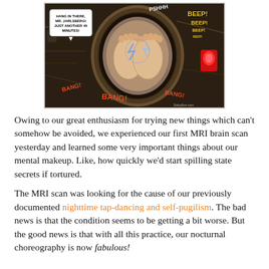[Figure (illustration): Comic illustration of an MRI scan. A person's feet are visible inside an MRI machine tunnel. A speech bubble reads 'HANG IN THERE, MR. JARLSBERG! JUST ANOTHER 45 MINUTES!' Sound effects: BEEP, BANG, BANG, BANG, PSHHH. A red alarm light is visible on the right side. Watermark reads 'StickyBurr.com'.]
Owing to our great enthusiasm for trying new things which can't somehow be avoided, we experienced our first MRI brain scan yesterday and learned some very important things about our mental makeup. Like, how quickly we'd start spilling state secrets if tortured.
The MRI scan was looking for the cause of our previously documented nighttime tap-dancing and self-pugilism. The bad news is that the condition seems to be getting a bit worse. But the good news is that with all this practice, our nocturnal choreography is now fabulous!